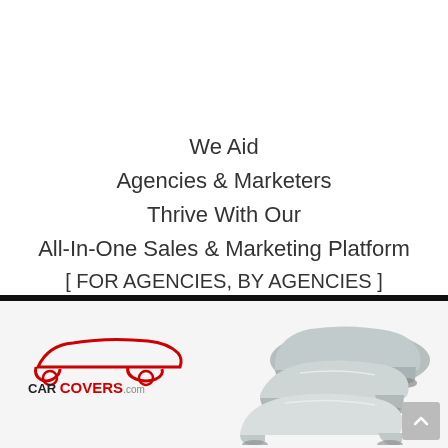We Aid Agencies & Marketers Thrive With Our All-In-One Sales & Marketing Platform [ FOR AGENCIES, BY AGENCIES ]
[Figure (logo): CarCovers.com logo with red car silhouette outline]
[Figure (photo): Three grey car covers draped over vehicles]